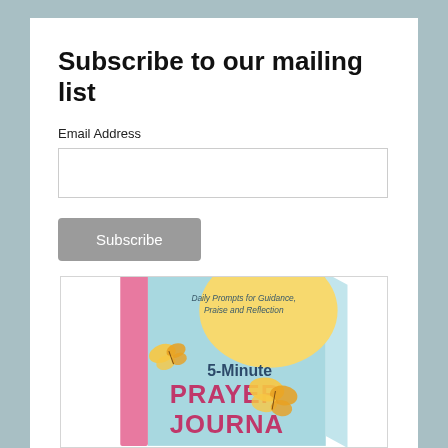Subscribe to our mailing list
Email Address
[Figure (illustration): Empty email address input field (text box)]
[Figure (illustration): Subscribe button (grey rounded rectangle with white text 'Subscribe')]
[Figure (illustration): Book cover of '5-Minute Prayer Journal' with subtitle 'Daily Prompts for Guidance, Praise and Reflection', light blue cover with yellow butterflies and pink spine, partially cropped at bottom]